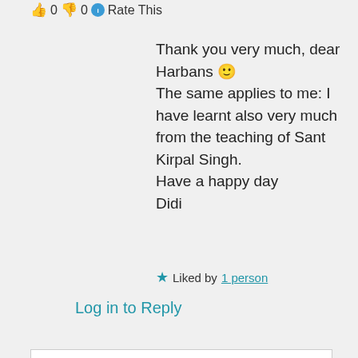👍 0 👎 0 ℹ Rate This
Thank you very much, dear Harbans 🙂
The same applies to me: I have learnt also very much from the teaching of Sant Kirpal Singh.
Have a happy day
Didi
★ Liked by 1 person
Log in to Reply
Privacy & Cookies: This site uses cookies. By continuing to use this website, you agree to their use.
To find out more, including how to control cookies, see here: Cookie Policy
Close and accept
Kirpal Singh Ji's thoughts and